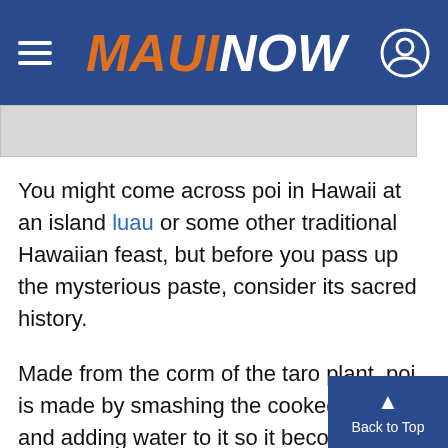MAUI NOW
You might come across poi in Hawaii at an island luau or some other traditional Hawaiian feast, but before you pass up the mysterious paste, consider its sacred history.
Made from the corm of the taro plant, poi is made by smashing the cooked corm and adding water to it so it becomes a thick, sticky paste-like purple substance. Though fresh poi is naturally sweet, as days pass it loses its sweetness and turns lightly sour. Because of this fact, many people add sugar or other sweeteners to the paste, which can be consumed for breakfast on bread or rolls, or even paired with fish as on